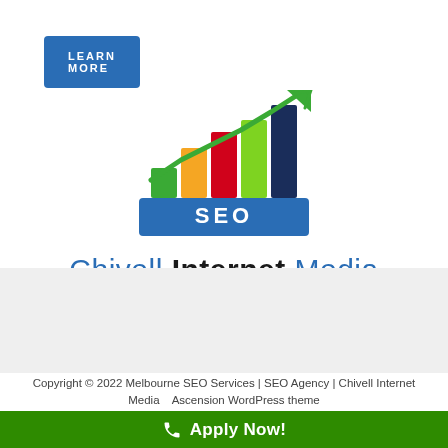[Figure (logo): LEARN MORE button (blue rectangle with white uppercase text)]
[Figure (logo): Chivell Internet Media SEO logo: bar chart with green arrow trending upward, colored bars (green, orange, red, light green, dark blue), blue SEO label base, with 'Chivell Internet Media' text below in blue and black]
Copyright © 2022 Melbourne SEO Services | SEO Agency | Chivell Internet Media    Ascension WordPress theme
[Figure (other): Green Apply Now! bar with phone icon and white bold text]